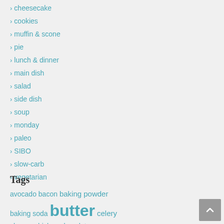cheesecake
cookies
muffin & scone
pie
lunch & dinner
main dish
salad
side dish
soup
monday
paleo
SIBO
slow-carb
vegetarian
Tags
avocado bacon baking powder baking soda butter celery cheese chicken chocolate